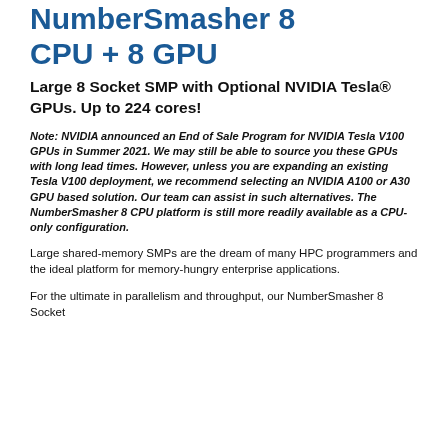NumberSmasher 8 CPU + 8 GPU
Large 8 Socket SMP with Optional NVIDIA Tesla® GPUs. Up to 224 cores!
Note: NVIDIA announced an End of Sale Program for NVIDIA Tesla V100 GPUs in Summer 2021. We may still be able to source you these GPUs with long lead times. However, unless you are expanding an existing Tesla V100 deployment, we recommend selecting an NVIDIA A100 or A30 GPU based solution. Our team can assist in such alternatives. The NumberSmasher 8 CPU platform is still more readily available as a CPU-only configuration.
Large shared-memory SMPs are the dream of many HPC programmers and the ideal platform for memory-hungry enterprise applications.
For the ultimate in parallelism and throughput, our NumberSmasher 8 Socket